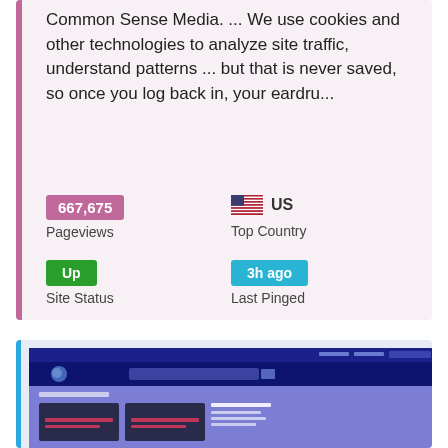Common Sense Media. ... We use cookies and other technologies to analyze site traffic, understand patterns ... but that is never saved, so once you log back in, your eardru...
667,675
Pageviews
US
Top Country
Up
Site Status
3h ago
Last Pinged
[Figure (screenshot): Screenshot of a website with dark navy navigation bar, logo, search box, and a purple body showing 'OURWORLD SUPPORT' header with two dark content cards]